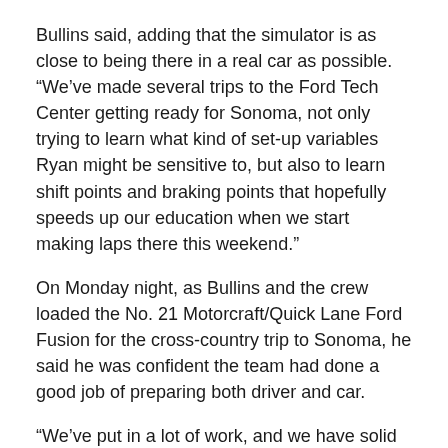Bullins said, adding that the simulator is as close to being there in a real car as possible. “We’ve made several trips to the Ford Tech Center getting ready for Sonoma, not only trying to learn what kind of set-up variables Ryan might be sensitive to, but also to learn shift points and braking points that hopefully speeds up our education when we start making laps there this weekend.”
On Monday night, as Bullins and the crew loaded the No. 21 Motorcraft/Quick Lane Ford Fusion for the cross-country trip to Sonoma, he said he was confident the team had done a good job of preparing both driver and car.
“We’ve put in a lot of work, and we have solid expectations for a good weekend,” he said.
WBR PR